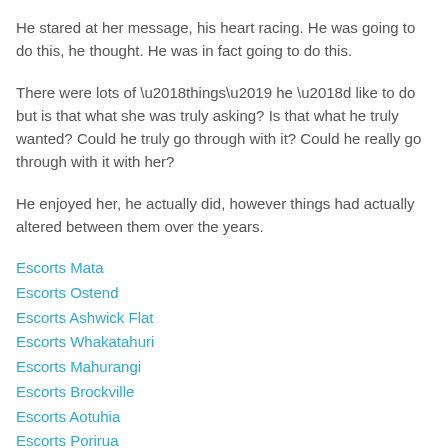He stared at her message, his heart racing. He was going to do this, he thought. He was in fact going to do this.
There were lots of ‘things’ he ‘d like to do but is that what she was truly asking? Is that what he truly wanted? Could he truly go through with it? Could he really go through with it with her?
He enjoyed her, he actually did, however things had actually altered between them over the years.
Escorts Mata
Escorts Ostend
Escorts Ashwick Flat
Escorts Whakatahuri
Escorts Mahurangi
Escorts Brockville
Escorts Aotuhia
Escorts Porirua